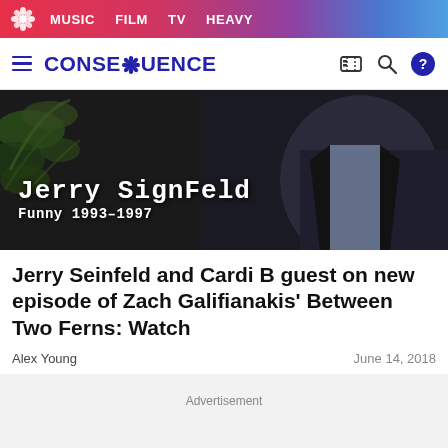MUSIC  FILM  TV  HEAVY
CONSEQUENCE
[Figure (screenshot): Video thumbnail showing a man in dark suit with text overlay reading 'Jerry SignFeld Funny 1993-1997' in white monospace font on dark background with fern plants visible]
Jerry Seinfeld and Cardi B guest on new episode of Zach Galifianakis' Between Two Ferns: Watch
Alex Young
June 14, 2018
Advertisement
Advertisement